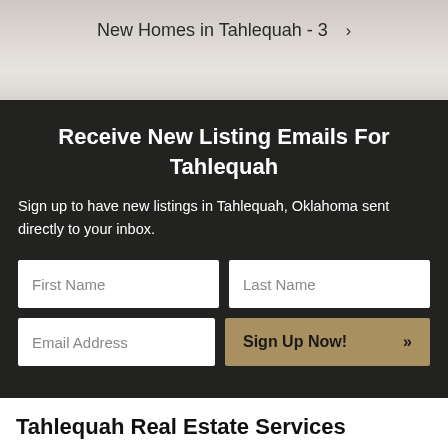New Homes in Tahlequah - 3 >
Receive New Listing Emails For Tahlequah
Sign up to have new listings in Tahlequah, Oklahoma sent directly to your inbox.
First Name | Last Name | Email Address | Sign Up Now! >>
Tahlequah Real Estate Services